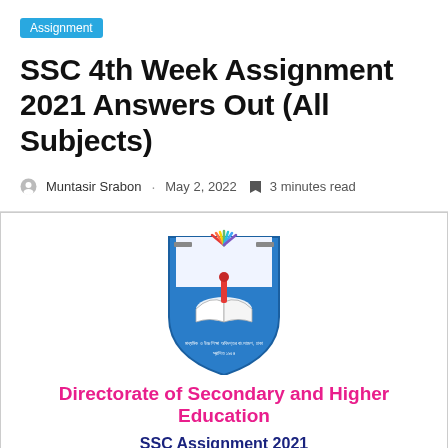Assignment
SSC 4th Week Assignment 2021 Answers Out (All Subjects)
Muntasir Srabon · May 2, 2022 · 3 minutes read
[Figure (logo): Directorate of Secondary and Higher Education seal/crest logo with open book, torch, and colorful rays on a blue shield with Bengali text]
Directorate of Secondary and Higher Education
SSC Assignment 2021